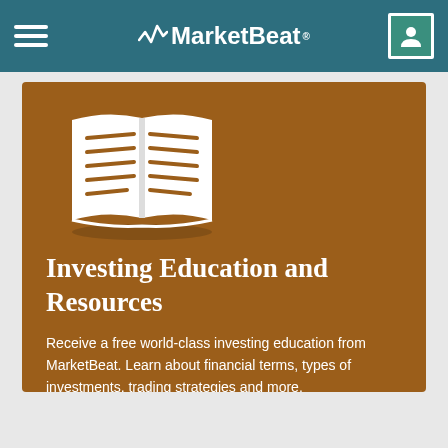MarketBeat
[Figure (illustration): Open book icon with white pages and text lines on brown/amber background]
Investing Education and Resources
Receive a free world-class investing education from MarketBeat. Learn about financial terms, types of investments, trading strategies and more.
FINANCIAL TERMS >